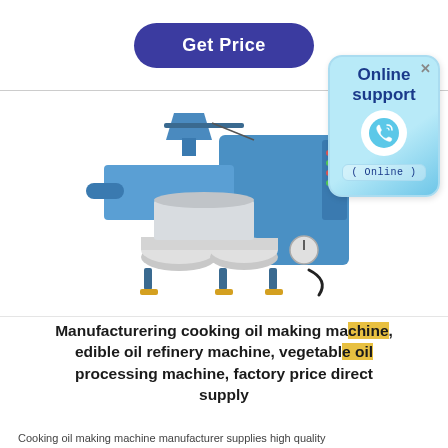[Figure (other): Get Price button — dark blue rounded rectangle button with white text]
[Figure (other): Online support widget — light blue rounded box with phone icon and 'Online' badge. Text: Online support (Online)]
[Figure (photo): Blue oil press / cooking oil making machine with hopper, screw press, filter bowls, and control panel]
Manufacturering cooking oil making machine, edible oil refinery machine, vegetable oil processing machine, factory price direct supply
Cooking oil making machine manufacturer supplies high quality